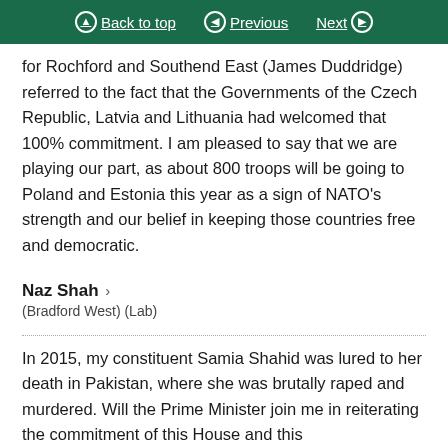Back to top | Previous | Next
for Rochford and Southend East (James Duddridge) referred to the fact that the Governments of the Czech Republic, Latvia and Lithuania had welcomed that 100% commitment. I am pleased to say that we are playing our part, as about 800 troops will be going to Poland and Estonia this year as a sign of NATO's strength and our belief in keeping those countries free and democratic.
Naz Shah > (Bradford West) (Lab)
In 2015, my constituent Samia Shahid was lured to her death in Pakistan, where she was brutally raped and murdered. Will the Prime Minister join me in reiterating the commitment of this House and this